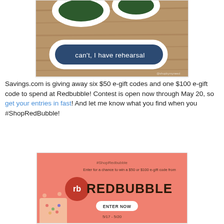[Figure (photo): Photo of stickers on a wooden surface, including a dark blue text bubble sticker reading 'can't, I have rehearsal']
Savings.com is giving away six $50 e-gift codes and one $100 e-gift code to spend at Redbubble! Contest is open now through May 20, so get your entries in fast! And let me know what you find when you #ShopRedBubble!
[Figure (infographic): Redbubble giveaway promotional banner with salmon/coral background. Shows #ShopRedbubble text, 'Enter for a chance to win a $50 or $100 e-gift code from REDBUBBLE' with RB logo and 'ENTER NOW' button. Dates: 5/17 - 5/20.]